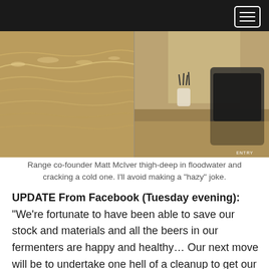[Figure (photo): Two photos side by side: left photo shows Range co-founder Matt McIver standing thigh-deep in brown floodwater; right photo shows a flooded interior space with exercise equipment and a cup of utensils on a desk, with 'ENTRY' label in corner.]
Range co-founder Matt McIver thigh-deep in floodwater and cracking a cold one. I'll avoid making a "hazy" joke.
UPDATE From Facebook (Tuesday evening): "We're fortunate to have been able to save our stock and materials and all the beers in our fermenters are happy and healthy… Our next move will be to undertake one hell of a cleanup to get our spaces cleaned, sanitary and ready for y'all to enjoy our beers again. Unfortunately, due to the ongoing levels of the Brisbane river, flooding is expected to continue for the next couple of days so at this point we are playing a